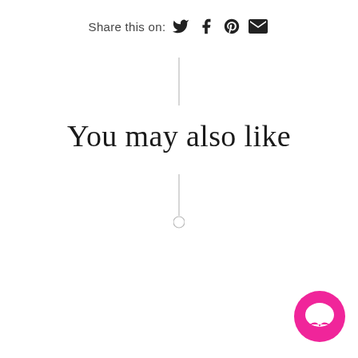Share this on: [twitter] [facebook] [pinterest] [email]
[Figure (other): Vertical divider line above 'You may also like' heading]
You may also like
[Figure (other): Vertical divider line with small circle at bottom below 'You may also like' heading]
[Figure (other): Pink chat bubble icon in bottom-right corner]